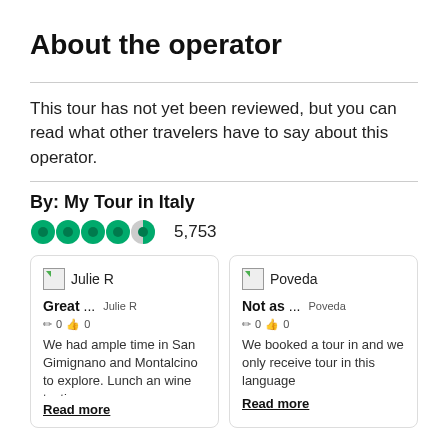About the operator
This tour has not yet been reviewed, but you can read what other travelers have to say about this operator.
By: My Tour in Italy
5,753
Julie R
Great ...
Julie R  0  0
We had ample time in San Gimignano and Montalcino to explore. Lunch an wine tasting
Read more
Poveda
Not as ...
Poveda  0  0
We booked a tour in and we only receive tour in this language
Read more